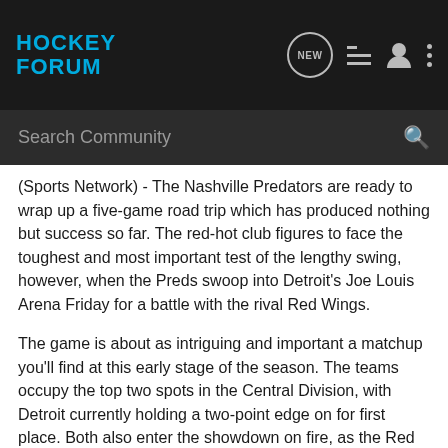HOCKEY FORUM
(Sports Network) - The Nashville Predators are ready to wrap up a five-game road trip which has produced nothing but success so far. The red-hot club figures to face the toughest and most important test of the lengthy swing, however, when the Preds swoop into Detroit's Joe Louis Arena Friday for a battle with the rival Red Wings.
The game is about as intriguing and important a matchup you'll find at this early stage of the season. The teams occupy the top two spots in the Central Division, with Detroit currently holding a two-point edge on for first place. Both also enter the showdown on fire, as the Red Wings have won their last seven games and Nashville is carrying a five-game win streak. Add in the fact that the teams don't particularly like one another, and you've got the makings of a potential must-see.